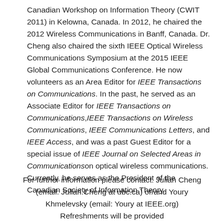Canadian Workshop on Information Theory (CWIT 2011) in Kelowna, Canada. In 2012, he chaired the 2012 Wireless Communications in Banff, Canada. Dr. Cheng also chaired the sixth IEEE Optical Wireless Communications Symposium at the 2015 IEEE Global Communications Conference. He now volunteers as an Area Editor for IEEE Transactions on Communications. In the past, he served as an Associate Editor for IEEE Transactions on Communications, IEEE Transactions on Wireless Communications, IEEE Communications Letters, and IEEE Access, and was a past Guest Editor for a special issue of IEEE Journal on Selected Areas in Communications on optical wireless communications. Currently, he serves as the President of the Canadian Society of Information Theory.
For further information please contact: Julian Cheng (email: Julian.Cheng at ubc.ca) or/and Youry Khmelevsky (email: Youry at IEEE.org)
Refreshments will be provided